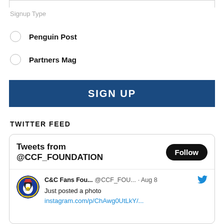Signup Type
Penguin Post
Partners Mag
SIGN UP
TWITTER FEED
Tweets from @CCF_FOUNDATION
C&C Fans Fou... @CCF_FOU... · Aug 8
Just posted a photo
instagram.com/p/ChAwg0UtLkY/...